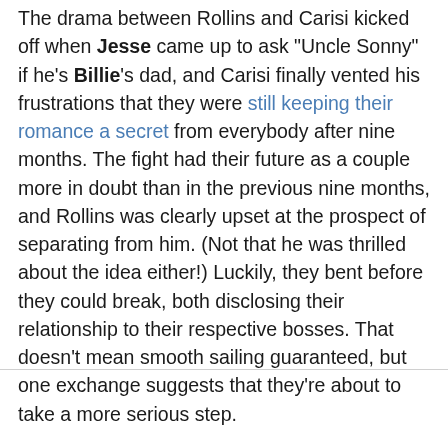The drama between Rollins and Carisi kicked off when Jesse came up to ask "Uncle Sonny" if he's Billie's dad, and Carisi finally vented his frustrations that they were still keeping their romance a secret from everybody after nine months. The fight had their future as a couple more in doubt than in the previous nine months, and Rollins was clearly upset at the prospect of separating from him. (Not that he was thrilled about the idea either!) Luckily, they bent before they could break, both disclosing their relationship to their respective bosses. That doesn't mean smooth sailing guaranteed, but one exchange suggests that they're about to take a more serious step.